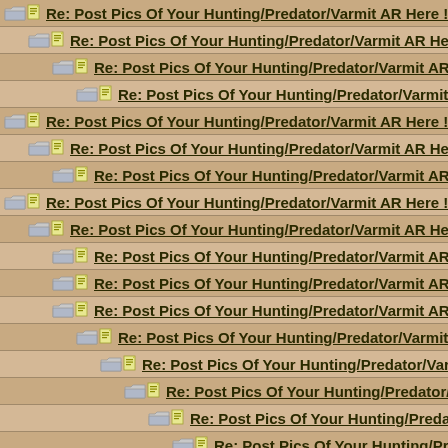Re: Post Pics Of Your Hunting/Predator/Varmit AR Here !!
Re: Post Pics Of Your Hunting/Predator/Varmit AR Here !!
Re: Post Pics Of Your Hunting/Predator/Varmit AR Here
Re: Post Pics Of Your Hunting/Predator/Varmit AR He
Re: Post Pics Of Your Hunting/Predator/Varmit AR Here !!
Re: Post Pics Of Your Hunting/Predator/Varmit AR Here !!
Re: Post Pics Of Your Hunting/Predator/Varmit AR Here !!
Re: Post Pics Of Your Hunting/Predator/Varmit AR Here !!
Re: Post Pics Of Your Hunting/Predator/Varmit AR Here !!
Re: Post Pics Of Your Hunting/Predator/Varmit AR Here !!
Re: Post Pics Of Your Hunting/Predator/Varmit AR Here
Re: Post Pics Of Your Hunting/Predator/Varmit AR Here
Re: Post Pics Of Your Hunting/Predator/Varmit AR He
Re: Post Pics Of Your Hunting/Predator/Varmit AR H
Re: Post Pics Of Your Hunting/Predator/Varmit AP
Re: Post Pics Of Your Hunting/Predator/Varmit
Re: Post Pics Of Your Hunting/Predator/Varm
Re: Post Pics Of Your Hunting/Predator/Va